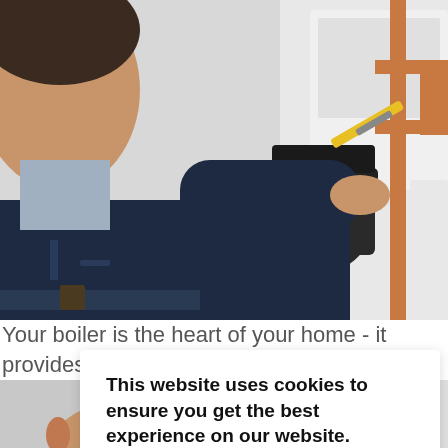[Figure (photo): A plumber/engineer in dark work clothes using a screwdriver to work on copper pipes and a black pipe fitting, boiler service context]
Your boiler is the heart of your home - it provides you and your household with hot water and welcoming warmth all year round. Servicing your boiler is one of the most impo...oid bigg...
It's r... y and...
[Figure (photo): Bottom portion of a person, lower face visible, white background, boiler-related context]
This website uses cookies to ensure you get the best experience on our website.
Learn more
Got it!